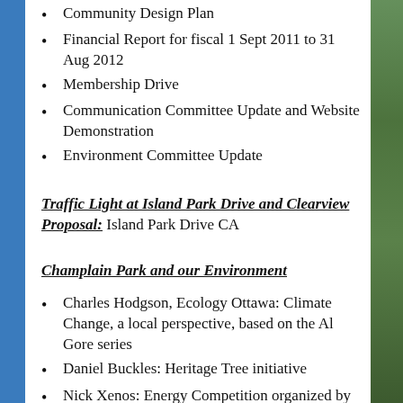Community Design Plan
Financial Report for fiscal 1 Sept 2011 to 31 Aug 2012
Membership Drive
Communication Committee Update and Website Demonstration
Environment Committee Update
Traffic Light at Island Park Drive and Clearview Proposal: Island Park Drive CA
Champlain Park and our Environment
Charles Hodgson, Ecology Ottawa: Climate Change, a local perspective, based on the Al Gore series
Daniel Buckles: Heritage Tree initiative
Nick Xenos: Energy Competition organized by SLOWest